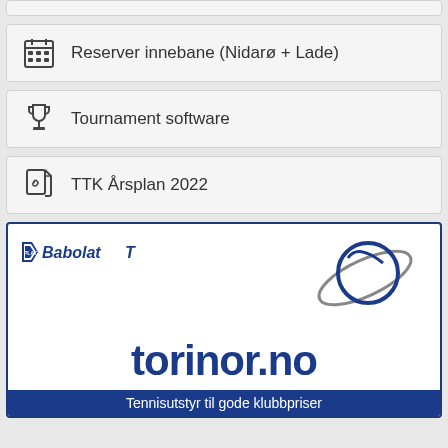Reserver innebane (Nidarø + Lade)
Tournament software
TTK Årsplan 2022
[Figure (logo): Babolat and torinor.no advertisement banner with text 'Tennisutstyr til gode klubbpriser']